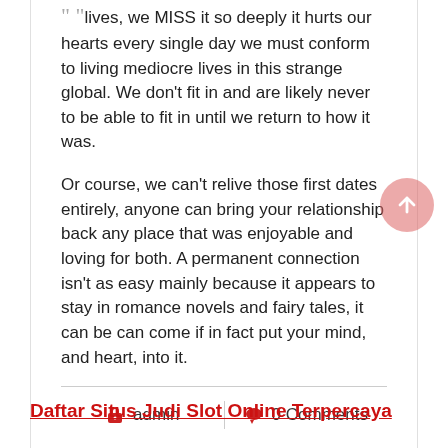lives, we MISS it so deeply it hurts our hearts every single day we must conform to living mediocre lives in this strange global. We don't fit in and are likely never to be able to fit in until we return to how it was.
Or course, we can't relive those first dates entirely, anyone can bring your relationship back any place that was enjoyable and loving for both. A permanent connection isn't as easy mainly because it appears to stay in romance novels and fairy tales, it can be can come if in fact put your mind, and heart, into it.
admin   0 Comments
Daftar Situs Judi Slot Online Terpercaya